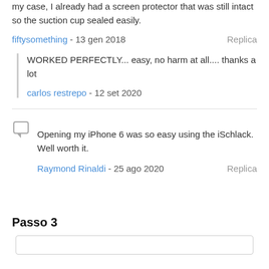my case, I already had a screen protector that was still intact so the suction cup sealed easily.
fiftysomething - 13 gen 2018   Replica
WORKED PERFECTLY... easy, no harm at all.... thanks a lot
carlos restrepo - 12 set 2020
Opening my iPhone 6 was so easy using the iSchlack. Well worth it.
Raymond Rinaldi - 25 ago 2020   Replica
Passo 3